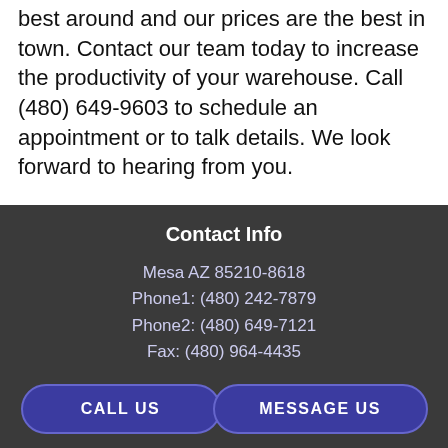best around and our prices are the best in town. Contact our team today to increase the productivity of your warehouse. Call (480) 649-9603 to schedule an appointment or to talk details. We look forward to hearing from you.
Contact Info
Mesa AZ 85210-8618
Phone1: (480) 242-7879
Phone2: (480) 649-7121
Fax: (480) 964-4435
CALL US   MESSAGE US